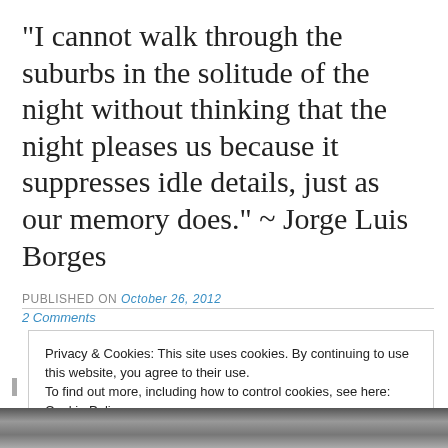“I cannot walk through the suburbs in the solitude of the night without thinking that the night pleases us because it suppresses idle details, just as our memory does.” ~ Jorge Luis Borges
PUBLISHED ON October 26, 2012
2 Comments
Privacy & Cookies: This site uses cookies. By continuing to use this website, you agree to their use.
To find out more, including how to control cookies, see here: Cookie Policy
[Figure (photo): Partial black and white photo visible at bottom of page]